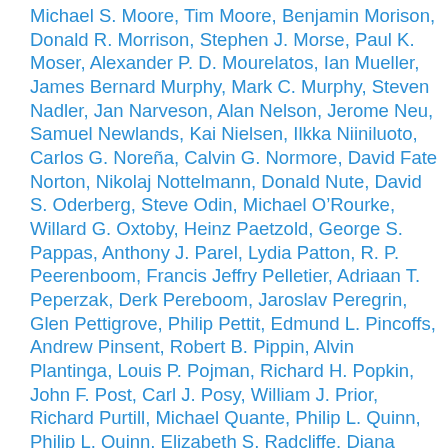Michael S. Moore, Tim Moore, Benjamin Morison, Donald R. Morrison, Stephen J. Morse, Paul K. Moser, Alexander P. D. Mourelatos, Ian Mueller, James Bernard Murphy, Mark C. Murphy, Steven Nadler, Jan Narveson, Alan Nelson, Jerome Neu, Samuel Newlands, Kai Nielsen, Ilkka Niiniluoto, Carlos G. Noreña, Calvin G. Normore, David Fate Norton, Nikolaj Nottelmann, Donald Nute, David S. Oderberg, Steve Odin, Michael O'Rourke, Willard G. Oxtoby, Heinz Paetzold, George S. Pappas, Anthony J. Parel, Lydia Patton, R. P. Peerenboom, Francis Jeffry Pelletier, Adriaan T. Peperzak, Derk Pereboom, Jaroslav Peregrin, Glen Pettigrove, Philip Pettit, Edmund L. Pincoffs, Andrew Pinsent, Robert B. Pippin, Alvin Plantinga, Louis P. Pojman, Richard H. Popkin, John F. Post, Carl J. Posy, William J. Prior, Richard Purtill, Michael Quante, Philip L. Quinn, Philip L. Quinn, Elizabeth S. Radcliffe, Diana Raffman, Gerard Raulet, Stephen L. Read, Andrews Reath, Andrew Reisner, Nicholas Rescher, Henry S. Richardson, Robert C. Richardson, Thomas Ricketts, Wayne D. Riggs, Mark Roberts, Robert C. Roberts, Luke Robinson, Alexander Rosenberg, Gary Rosenkranz, Bernice Glatzer Rosenthal, Adina L. Roskies, William L.